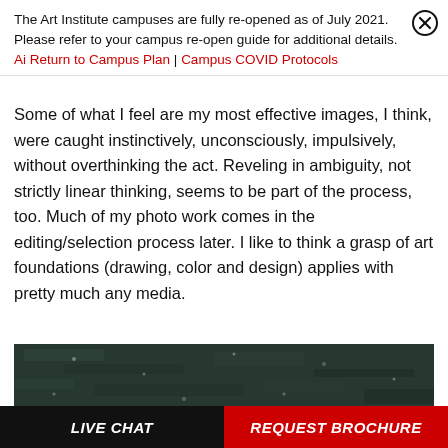The Art Institute campuses are fully re-opened as of July 2021. Please refer to your campus re-open guide for additional details.
Ai Return to Campus Plan | Campus COVID Protocols
Some of what I feel are my most effective images, I think, were caught instinctively, unconsciously, impulsively, without overthinking the act. Reveling in ambiguity, not strictly linear thinking, seems to be part of the process, too. Much of my photo work comes in the editing/selection process later. I like to think a grasp of art foundations (drawing, color and design) applies with pretty much any media.
[Figure (photo): Dark teal/green textured surface, partially visible, cropped at bottom of page]
LIVE CHAT | REQUEST BROCHURE